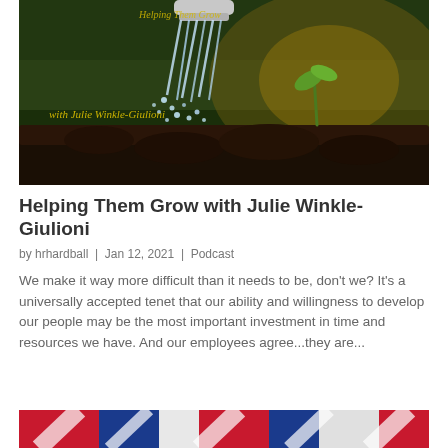[Figure (photo): Photo of water being poured from a watering can onto a small seedling sprouting from dark soil, with text 'with Julie Winkle-Giulioni' in yellow italic script overlaid on the lower left, dark green background.]
Helping Them Grow with Julie Winkle-Giulioni
by hrhardball  |  Jan 12, 2021  |  Podcast
We make it way more difficult than it needs to be, don't we? It's a universally accepted tenet that our ability and willingness to develop our people may be the most important investment in time and resources we have. And our employees agree...they are...
[Figure (photo): Partial view of a colorful image at the bottom of the page, showing red, blue, and white colors.]